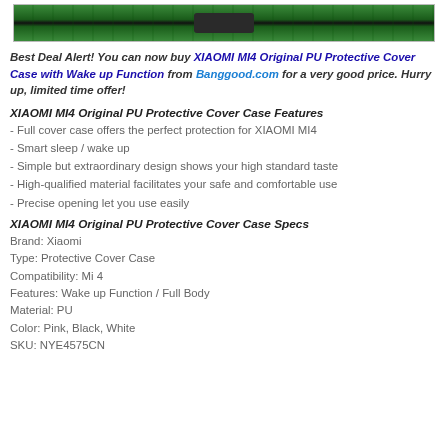[Figure (photo): Top portion of a product photo showing a green circuit board or phone case accessory]
Best Deal Alert! You can now buy XIAOMI MI4 Original PU Protective Cover Case with Wake up Function from Banggood.com for a very good price. Hurry up, limited time offer!
XIAOMI MI4 Original PU Protective Cover Case Features
- Full cover case offers the perfect protection for XIAOMI MI4
- Smart sleep / wake up
- Simple but extraordinary design shows your high standard taste
- High-qualified material facilitates your safe and comfortable use
- Precise opening let you use easily
XIAOMI MI4 Original PU Protective Cover Case Specs
Brand: Xiaomi
Type: Protective Cover Case
Compatibility: Mi 4
Features: Wake up Function / Full Body
Material: PU
Color: Pink, Black, White
SKU: NYE4575CN